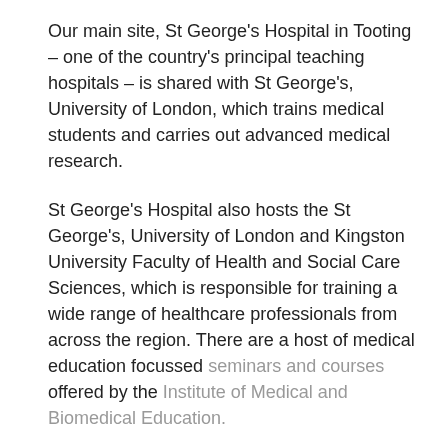Our main site, St George's Hospital in Tooting – one of the country's principal teaching hospitals – is shared with St George's, University of London, which trains medical students and carries out advanced medical research.
St George's Hospital also hosts the St George's, University of London and Kingston University Faculty of Health and Social Care Sciences, which is responsible for training a wide range of healthcare professionals from across the region. There are a host of medical education focussed seminars and courses offered by the Institute of Medical and Biomedical Education.
The St George's Postgraduate Centre hosts a programme of events to support medical and dental education and training for foundation progamme trainees, core medical trainees and speciality medics, consultants and trainees. The Postgraduate Centre is